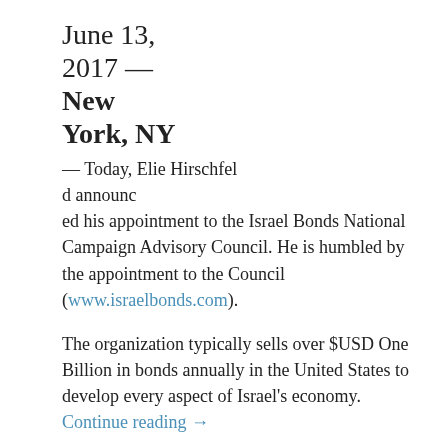June 13, 2017 — New York, NY
— Today, Elie Hirschfeld announced his appointment to the Israel Bonds National Campaign Advisory Council. He is humbled by the appointment to the Council (www.israelbonds.com).
The organization typically sells over $USD One Billion in bonds annually in the United States to develop every aspect of Israel's economy. Continue reading →